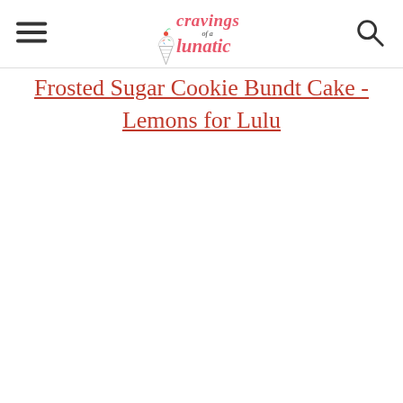Cravings of a Lunatic [logo] [menu icon] [search icon]
Frosted Sugar Cookie Bundt Cake - Lemons for Lulu